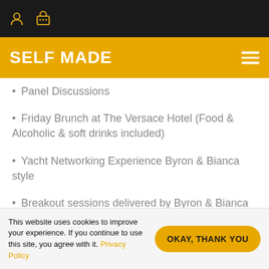SELF MADE
Panel Discussions
Friday Brunch at The Versace Hotel (Food & Alcoholic & soft drinks included)
Yacht Networking Experience Byron & Bianca style
Breakout sessions delivered by Byron & Bianca in the boardroom in the evening
This website uses cookies to improve your experience. If you continue to use this site, you agree with it. Privacy Policy